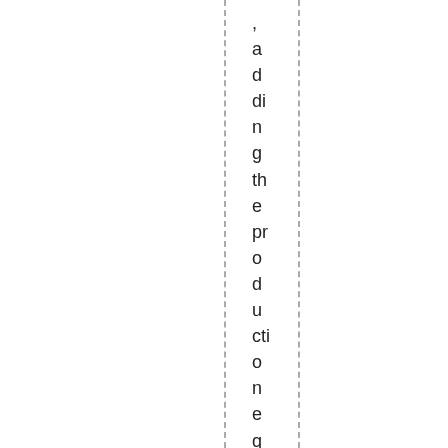, adding the production equivalent of 3 million bar